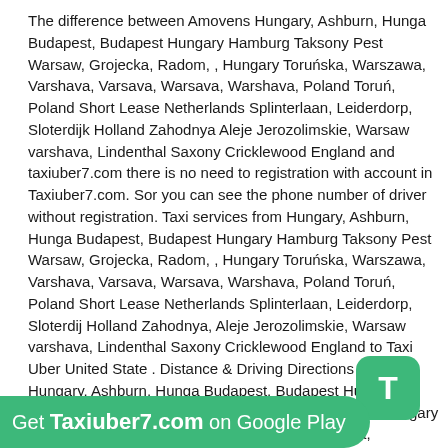The difference between Amovens Hungary, Ashburn, Hunga Budapest, Budapest Hungary Hamburg Taksony Pest Warsaw, Grojecka, Radom, , Hungary Toruńska, Warszawa, Varshava, Varsava, Warsava, Warshava, Poland Toruń, Poland Short Lease Netherlands Splinterlaan, Leiderdorp, Sloterdijk Holland Zahodnya Aleje Jerozolimskie, Warsaw varshava, Lindenthal Saxony Cricklewood England and taxiuber7.com there is no need to registration with account in Taxiuber7.com. Sor you can see the phone number of driver without registration. Taxi services from Hungary, Ashburn, Hunga Budapest, Budapest Hungary Hamburg Taksony Pest Warsaw, Grojecka, Radom, , Hungary Toruńska, Warszawa, Varshava, Varsava, Warsava, Warshava, Poland Toruń, Poland Short Lease Netherlands Splinterlaan, Leiderdorp, Sloterdijk Holland Zahodnya, Aleje Jerozolimskie, Warsaw varshava, Lindenthal Saxony Cricklewood England to Taxi Uber United State . Distance & Driving Directions from Hungary, Ashburn, Hunga Budapest, Budapest Hungary Hamburg Taksony Pest Warsaw, Grojecka, Radom, , Hungary Toruńska, Warszawa, Varshava, Varsava, Warsava, Warshava, Poland Toruń, Poland Short Lease Netherlands Splinterlaan, Leiderdorp, Sloterdijk Holland Zahodnya Aleje Jerozolimskie, Warsaw varshava, Lindenthal Saxony Cricklewood England . Driving Distance help for how to reach your destination from Hungary, Ashburn, Hunga Budapest, Budapest Hungary Hamburg Taksony Pest Warsaw, Grojecka, Radom, , Hungary Toruńska